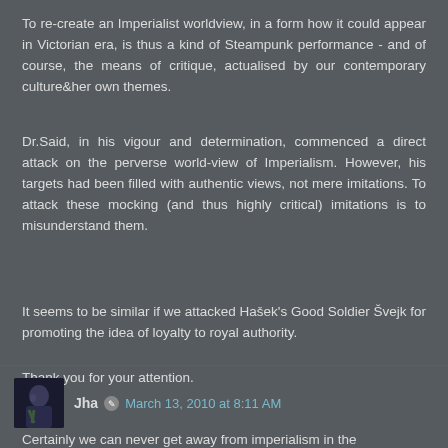To re-create an Imperialist worldview, in a form how it could appear in Victorian era, is thus a kind of Steampunk performance - and of course, the means of critique, actualised by our contemporary culture&her own themes.
Dr.Said, in his vigour and determination, commenced a direct attack on the perverse world-view of Imperialism. However, his targets had been filled with authentic views, not mere imitations. To attack these mocking (and thus highly critical) imitations is to misunderstand them.
It seems to be similar if we attacked Hašek's Good Soldier Švejk for promoting the idea of loyalty to royal authority.
Thank you for your attention.
Reply
Jha  March 13, 2010 at 8:11 AM
Certainly we can never get away from imperialism in the